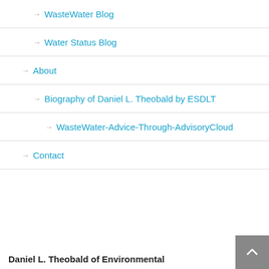→ WasteWater Blog
→ Water Status Blog
→ About
→ Biography of Daniel L. Theobald by ESDLT
→ WasteWater-Advice-Through-AdvisoryCloud
→ Contact
Daniel L. Theobald of Environmental